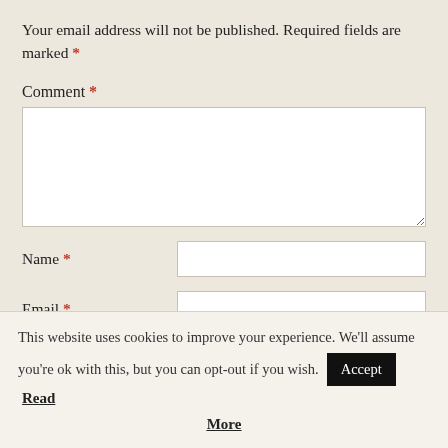Your email address will not be published. Required fields are marked *
Comment *
Name *
Email *
Website
This website uses cookies to improve your experience. We'll assume you're ok with this, but you can opt-out if you wish. Accept Read More